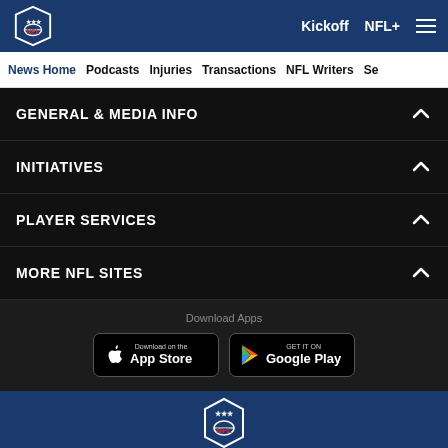[Figure (logo): NFL shield logo in navigation bar]
Kickoff  NFL+  ☰
News Home  Podcasts  Injuries  Transactions  NFL Writers  Se
GENERAL & MEDIA INFO
INITIATIVES
PLAYER SERVICES
MORE NFL SITES
Download Apps
[Figure (screenshot): Download on the App Store button]
[Figure (screenshot): Get it on Google Play button]
[Figure (logo): NFL shield logo in footer blue band]
[Figure (infographic): Social media icon buttons: Facebook, Twitter, Email, Link]